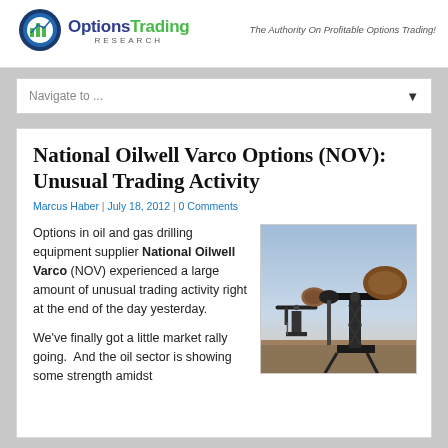[Figure (logo): Options Trading Research logo with green bar chart icon in blue circle, company name in blue and green, RESEARCH in small caps below]
The Authority On Profitable Options Trading!
Navigate to ...
National Oilwell Varco Options (NOV): Unusual Trading Activity
Marcus Haber | July 18, 2012 | 0 Comments
Options in oil and gas drilling equipment supplier National Oilwell Varco (NOV) experienced a large amount of unusual trading activity right at the end of the day yesterday.
[Figure (photo): Oil pump jacks (pumpjacks) silhouetted against a blue sky at dusk]
We've finally got a little market rally going.  And the oil sector is showing some strength amidst